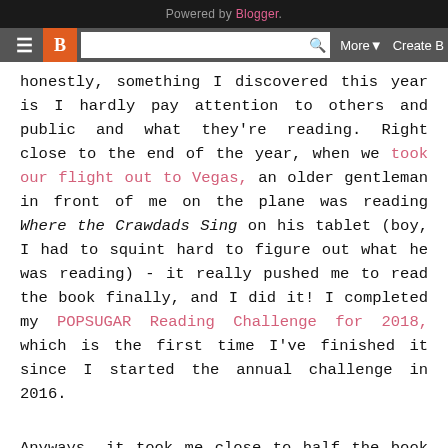Powered by Blogger.
honestly, something I discovered this year is I hardly pay attention to others and public and what they're reading. Right close to the end of the year, when we took our flight out to Vegas, an older gentleman in front of me on the plane was reading Where the Crawdads Sing on his tablet (boy, I had to squint hard to figure out what he was reading) - it really pushed me to read the book finally, and I did it! I completed my POPSUGAR Reading Challenge for 2018, which is the first time I've finished it since I started the annual challenge in 2016.
Anyways, it took me close to half the book to get into it. I was bored - it was set in the 1950s and just very slow-paced... a slow burn, if you will. I was beautifully written, don't get me wrong there, but it felt like required reading, which can feel like a pain at times. Once I got into the story, I really